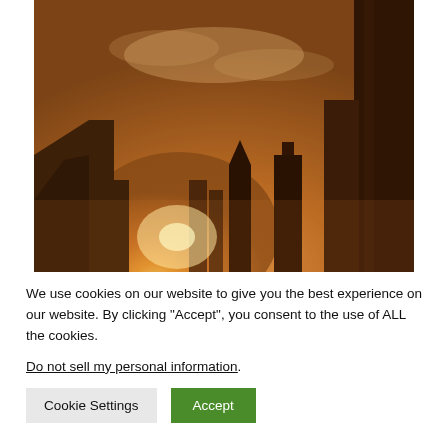[Figure (photo): Photograph of a hazy, orange-tinted urban skyline at dusk or dawn. Buildings are silhouetted against a glowing amber sky with scattered clouds. A bright light source (sun or fire) glows low on the horizon between the buildings.]
We use cookies on our website to give you the best experience on our website. By clicking “Accept”, you consent to the use of ALL the cookies.
Do not sell my personal information.
Cookie Settings
Accept